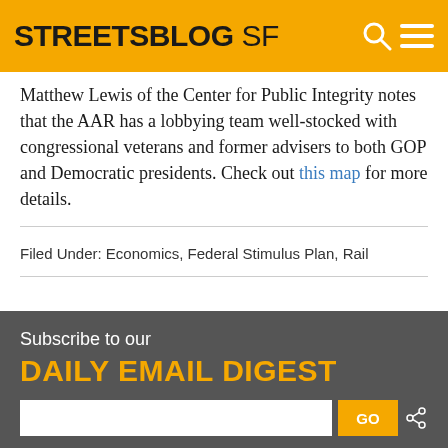STREETSBLOG SF
Matthew Lewis of the Center for Public Integrity notes that the AAR has a lobbying team well-stocked with congressional veterans and former advisers to both GOP and Democratic presidents. Check out this map for more details.
Filed Under: Economics, Federal Stimulus Plan, Rail
Subscribe to our DAILY EMAIL DIGEST